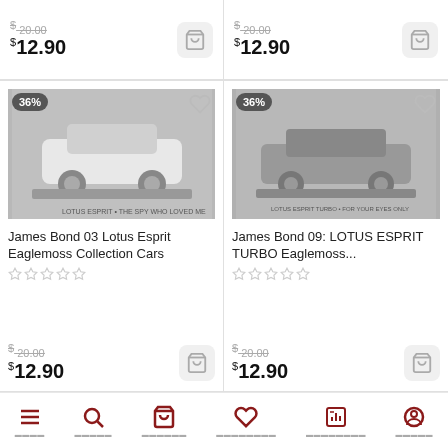$20.00 $12.90
$20.00 $12.90
[Figure (photo): Model car photo: James Bond 03 Lotus Esprit Eaglemoss Collection Cars, white car on display stand]
James Bond 03 Lotus Esprit Eaglemoss Collection Cars
$20.00 $12.90
[Figure (photo): Model car photo: James Bond 09 LOTUS ESPRIT TURBO Eaglemoss collection car, dark car on display stand]
James Bond 09: LOTUS ESPRIT TURBO Eaglemoss...
$20.00 $12.90
Menu  Search  Cart  Wishlist  Analytics  Profile